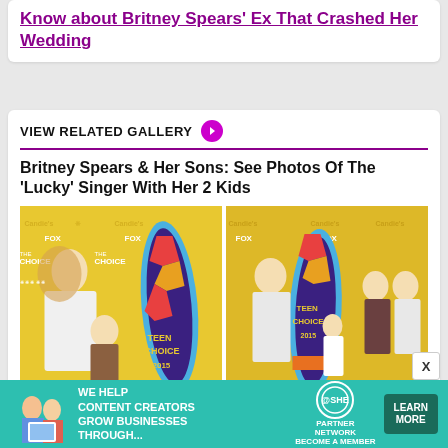Know about Britney Spears' Ex That Crashed Her Wedding
VIEW RELATED GALLERY →
Britney Spears & Her Sons: See Photos Of The 'Lucky' Singer With Her 2 Kids
[Figure (photo): Two photos from Teen Choice Awards 2015 featuring Britney Spears with her sons and others, yellow backdrop with surfboard trophies]
WE HELP CONTENT CREATORS GROW BUSINESSES THROUGH... SHE PARTNER NETWORK BECOME A MEMBER LEARN MORE